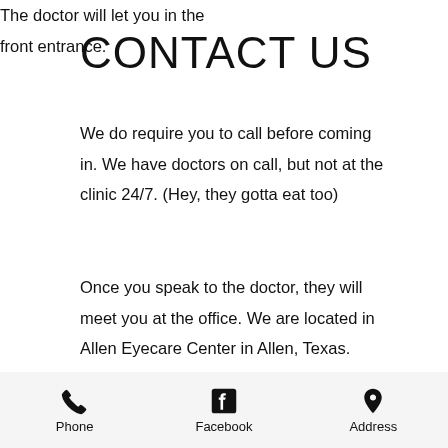CONTACT US
We do require you to call before coming in. We have doctors on call, but not at the clinic 24/7. (Hey, they gotta eat too)
Once you speak to the doctor, they will meet you at the office. We are located in Allen Eyecare Center in Allen, Texas.
The doctor will let you in the front entrance.
Phone | Facebook | Address